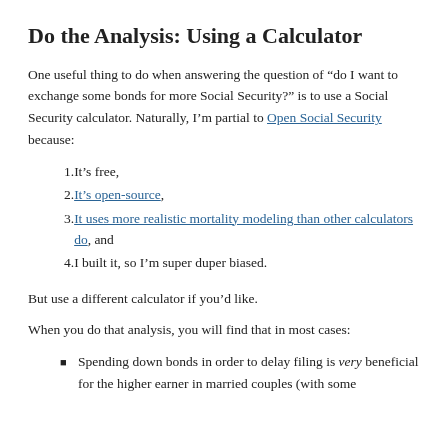Do the Analysis: Using a Calculator
One useful thing to do when answering the question of “do I want to exchange some bonds for more Social Security?” is to use a Social Security calculator. Naturally, I’m partial to Open Social Security because:
It’s free,
It’s open-source,
It uses more realistic mortality modeling than other calculators do, and
I built it, so I’m super duper biased.
But use a different calculator if you’d like.
When you do that analysis, you will find that in most cases:
Spending down bonds in order to delay filing is very beneficial for the higher earner in married couples (with some